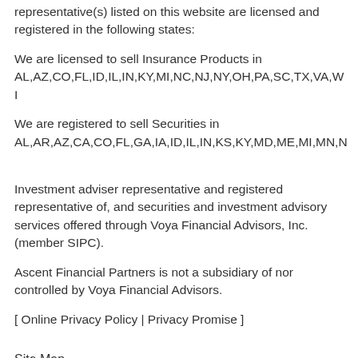representative(s) listed on this website are licensed and registered in the following states:
We are licensed to sell Insurance Products in AL,AZ,CO,FL,ID,IL,IN,KY,MI,NC,NJ,NY,OH,PA,SC,TX,VA,W...
We are registered to sell Securities in AL,AR,AZ,CA,CO,FL,GA,IA,ID,IL,IN,KS,KY,MD,ME,MI,MN,N...
Investment adviser representative and registered representative of, and securities and investment advisory services offered through Voya Financial Advisors, Inc. (member SIPC).
Ascent Financial Partners is not a subsidiary of nor controlled by Voya Financial Advisors.
[ Online Privacy Policy | Privacy Promise ]
Site Map